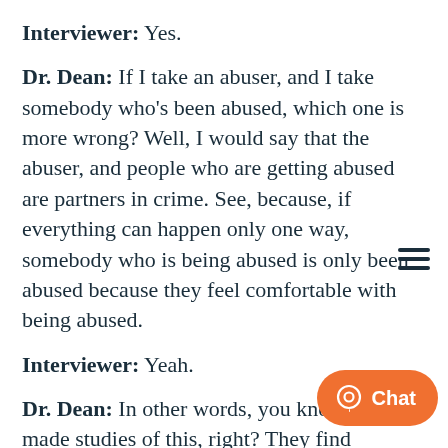Interviewer: Yes.
Dr. Dean: If I take an abuser, and I take somebody who's been abused, which one is more wrong? Well, I would say that the abuser, and people who are getting abused are partners in crime. See, because, if everything can happen only one way, somebody who is being abused is only been abused because they feel comfortable with being abused.
Interviewer: Yeah.
Dr. Dean: In other words, you know, they've made studies of this, right? They find somebody who's being abused, they lock up the abuser, they give rehabilitation to the person being abused